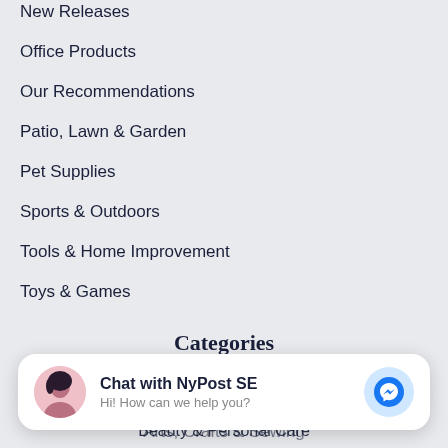New Releases
Office Products
Our Recommendations
Patio, Lawn & Garden
Pet Supplies
Sports & Outdoors
Tools & Home Improvement
Toys & Games
Categories
Appliances
Apps & Games
Arts, Crafts & Sewing
Baby
Beauty & Personal Care